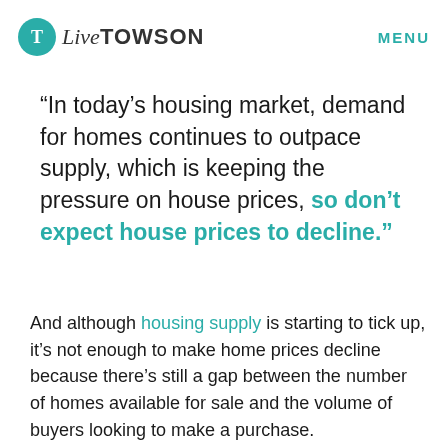Live TOWSON  MENU
“In today’s housing market, demand for homes continues to outpace supply, which is keeping the pressure on house prices, so don’t expect house prices to decline.”
And although housing supply is starting to tick up, it’s not enough to make home prices decline because there’s still a gap between the number of homes available for sale and the volume of buyers looking to make a purchase.